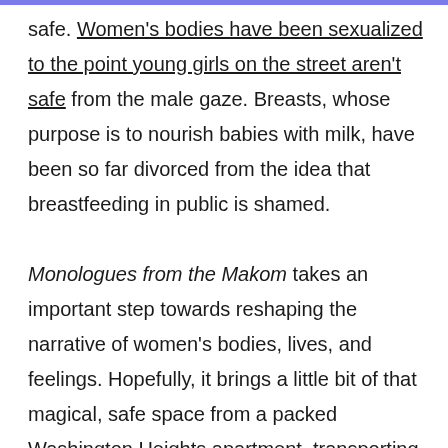safe. Women's bodies have been sexualized to the point young girls on the street aren't safe from the male gaze. Breasts, whose purpose is to nourish babies with milk, have been so far divorced from the idea that breastfeeding in public is shamed.

Monologues from the Makom takes an important step towards reshaping the narrative of women's bodies, lives, and feelings. Hopefully, it brings a little bit of that magical, safe space from a packed Washington Heights apartment, transporting it to every reader who cracks the